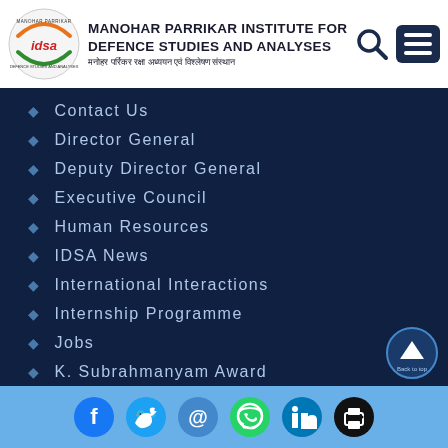Manohar Parrikar Institute for Defence Studies and Analyses
Contact Us
Director General
Deputy Director General
Executive Council
Human Resources
IDSA News
International Interactions
Internship Programme
Jobs
K. Subrahmanyam Award
Vision Statement
Visiting Fellowship
Social media links: Facebook, Twitter, Email, WhatsApp, LinkedIn, Print